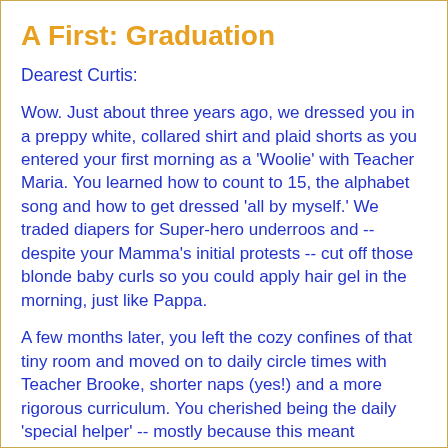A First: Graduation
Dearest Curtis:
Wow. Just about three years ago, we dressed you in a preppy white, collared shirt and plaid shorts as you entered your first morning as a 'Woolie' with Teacher Maria. You learned how to count to 15, the alphabet song and how to get dressed 'all by myself.' We traded diapers for Super-hero underroos and -- despite your Mamma's initial protests -- cut off those blonde baby curls so you could apply hair gel in the morning, just like Pappa.
A few months later, you left the cozy confines of that tiny room and moved on to daily circle times with Teacher Brooke, shorter naps (yes!) and a more rigorous curriculum. You cherished being the daily 'special helper' -- mostly because this meant organizing the lunch bags, being first in line and getting to peek out the window and meteorolgically declare the weather to the rest of the class.
And now, here we are today. You're 5 and a half. You're tall